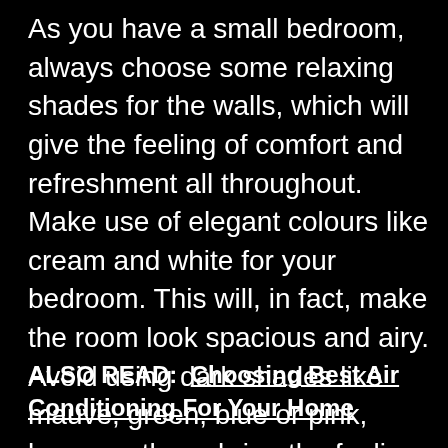As you have a small bedroom, always choose some relaxing shades for the walls, which will give the feeling of comfort and refreshment all throughout. Make use of elegant colours like cream and white for your bedroom. This will, in fact, make the room look spacious and airy. Avoid using dark shades like mauve, green, blue or pink, because these bring the feeling of less space. No wonder, a light palette will be a good pick for your room.
ALSO READ:  Choosing Best Air Conditioning For Your Home